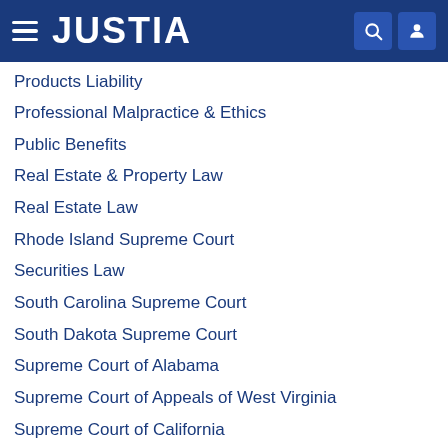JUSTIA
Products Liability
Professional Malpractice & Ethics
Public Benefits
Real Estate & Property Law
Real Estate Law
Rhode Island Supreme Court
Securities Law
South Carolina Supreme Court
South Dakota Supreme Court
Supreme Court of Alabama
Supreme Court of Appeals of West Virginia
Supreme Court of California
Supreme Court of Georgia
Supreme Court of Hawaii
Supreme Court of Illinois
Supreme Court of Indiana
Supreme Court of Mississippi
Supreme Court of Missouri
Supreme Court of Nevada